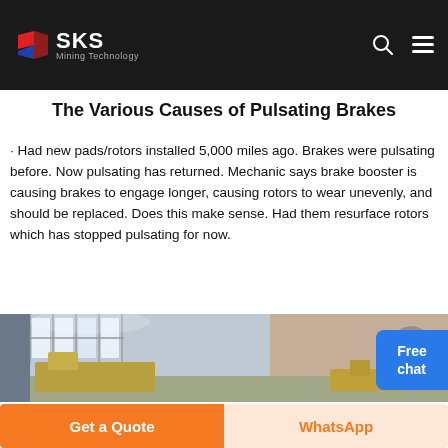SKS Mining Technology
The Various Causes of Pulsating Brakes
Had new pads/rotors installed 5,000 miles ago. Brakes were pulsating before. Now pulsating has returned. Mechanic says brake booster is causing brakes to engage longer, causing rotors to wear unevenly, and should be replaced. Does this make sense. Had them resurface rotors which has stopped pulsating for now.
[Figure (photo): Interior of an industrial workshop or machinery building with large windows and construction equipment visible]
Get a Quote
WhatsApp